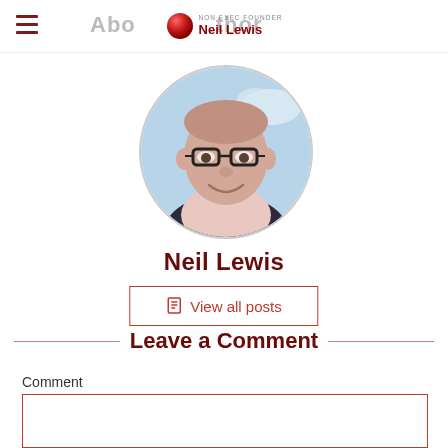About the Author — Neil Lewis (Non Exec Founder)
[Figure (photo): Circular profile photo of Neil Lewis, a middle-aged man wearing glasses and a light pink shirt, smiling, with sky background]
Neil Lewis
View all posts
Leave a Comment
Comment